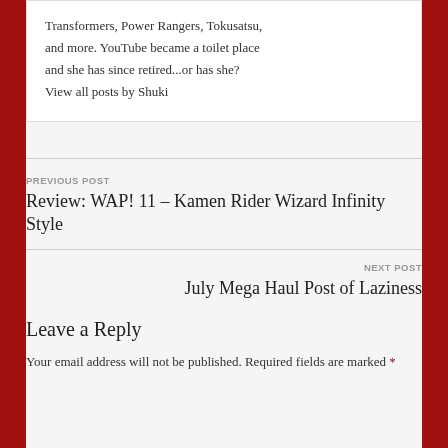Transformers, Power Rangers, Tokusatsu, and more. YouTube became a toilet place and she has since retired...or has she? View all posts by Shuki
PREVIOUS POST
Review: WAP! 11 – Kamen Rider Wizard Infinity Style
NEXT POST
July Mega Haul Post of Laziness
Leave a Reply
Your email address will not be published. Required fields are marked *